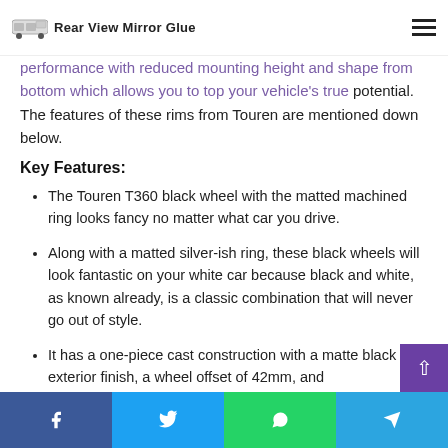Rear View Mirror Glue
performance with reduced mounting height and shape from bottom which allows you to top your vehicle's true potential. The features of these rims from Touren are mentioned down below.
Key Features:
The Touren T360 black wheel with the matted machined ring looks fancy no matter what car you drive.
Along with a matted silver-ish ring, these black wheels will look fantastic on your white car because black and white, as known already, is a classic combination that will never go out of style.
It has a one-piece cast construction with a matte black exterior finish, a wheel offset of 42mm, and
Facebook | Twitter | WhatsApp | Telegram